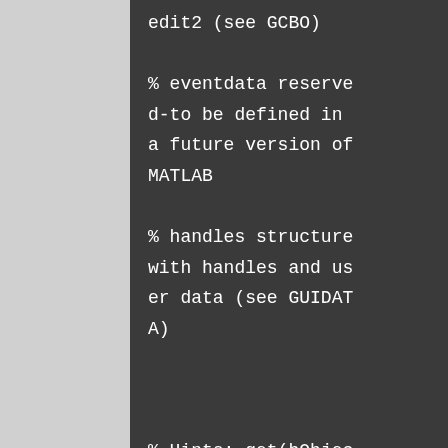edit2 (see GCBO)

% eventdata reserved-to be defined in a future version of MATLAB

% handles structure with handles and user data (see GUIDATA)



% Hints: get(hObjec